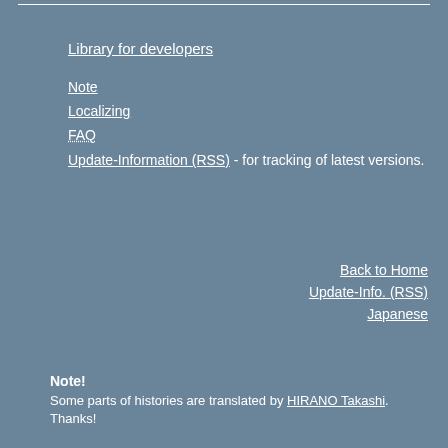Library for developers
Note
Localizing
FAQ
Update-Information (RSS) - for tracking of latest versions.
Back to Home
Update-Info. (RSS)
Japanese
Note! Some parts of histories are translated by HIRANO Takashi. Thanks!